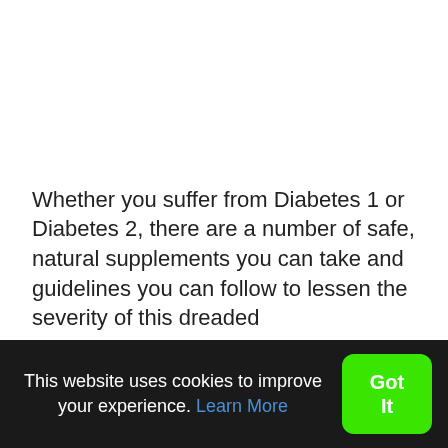Whether you suffer from Diabetes 1 or Diabetes 2, there are a number of safe, natural supplements you can take and guidelines you can follow to lessen the severity of this dreaded
This website uses cookies to improve your experience. Learn More
Got It